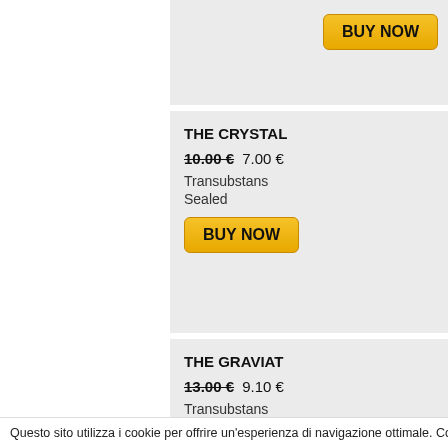[Figure (other): Top product card - partially visible, showing BUY NOW button and product image area]
BUY NOW
[Figure (other): THE CRYSTAL product listing card with image placeholder]
THE CRYSTAL
10.00 € 7.00 €
Transubstans
Sealed
BUY NOW
[Figure (other): THE GRAVIAT product listing card with image placeholder - partially visible]
THE GRAVIAT
13.00 € 9.10 €
Transubstans
Sealed
Questo sito utilizza i cookie per offrire un'esperienza di navigazione ottimale. Continuando